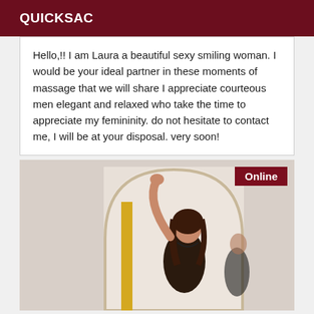QUICKSAC
Hello,!! I am Laura a beautiful sexy smiling woman. I would be your ideal partner in these moments of massage that we will share I appreciate courteous men elegant and relaxed who take the time to appreciate my femininity. do not hesitate to contact me, I will be at your disposal. very soon!
[Figure (photo): Woman with dark hair posing near an arched mirror, wearing dark clothing, photographed indoors against a light background. An 'Online' badge appears in the top right corner of the image.]